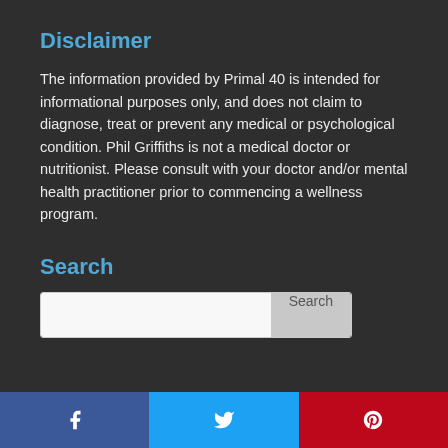Disclaimer
The information provided by Primal 40 is intended for informational purposes only, and does not claim to diagnose, treat or prevent any medical or psychological condition. Phil Griffiths is not a medical doctor or nutritionist. Please consult with your doctor and/or mental health practitioner prior to commencing a wellness program.
Search
[Figure (other): Search input box with Search button]
[Figure (other): Footer social media bar with Facebook, Twitter, and Pinterest icons]